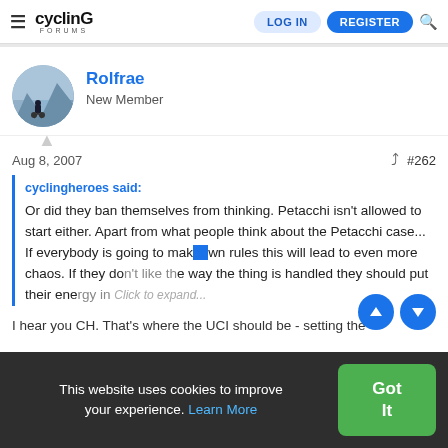≡ CYCLING FORUMS | LOG IN | REGISTER | 🔍
[Figure (photo): Circular avatar photo of user Rolfrae showing a cyclist on a mountain road]
Rolfrae
New Member
Aug 8, 2007    #262
cyclingheroes said:
Or did they ban themselves from thinking. Petacchi isn't allowed to start either. Apart from what people think about the Petacchi case... If everybody is going to make their own rules this will lead to even more chaos. If they don't like the way the thing is handled they should put their energy in... Click to expand...
I hear you CH. That's where the UCI should be - setting the
This website uses cookies to improve your experience. Learn More   Got It